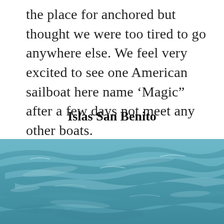the place for anchored but thought we were too tired to go anywhere else. We feel very excited to see one American sailboat here name ‘Magic” after a few days not meet any other boats.
Islas San Benito
[Figure (photo): A close-up photograph of blue-green ocean water with rippling waves and light reflections on the surface.]